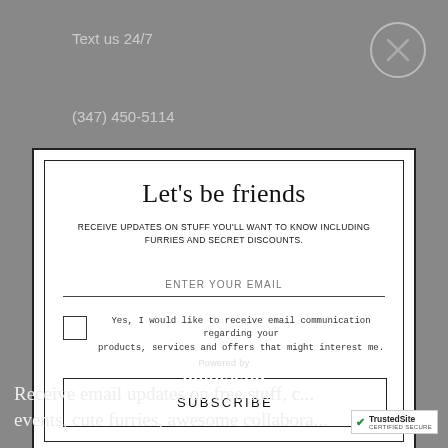Text us 24/7
(347) 450-5114
Let's be friends
RECEIVE UPDATES ON STUFF YOU'LL WANT TO KNOW INCLUDING FURRIES AND SECRET DISCOUNTS.
ENTER YOUR EMAIL
Yes, I would like to receive email communication regarding your products, services and offers that might interest me.
SUBSCRIBE
Powered by omnisend
Receive email updates on free stuff, c... events, cute furries, awesome collabora...
[Figure (logo): TrustedSite CERTIFIED SECURE badge]